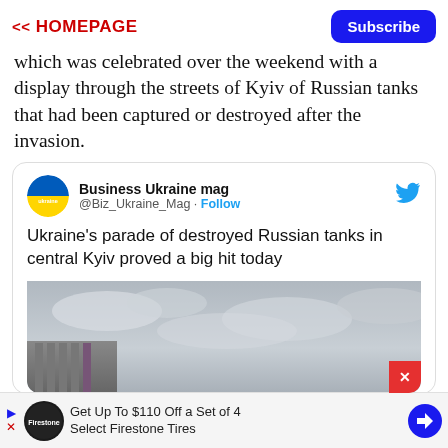<< HOMEPAGE | Subscribe
which was celebrated over the weekend with a display through the streets of Kyiv of Russian tanks that had been captured or destroyed after the invasion.
[Figure (screenshot): Embedded tweet from Business Ukraine mag (@Biz_Ukraine_Mag) with Follow button and Twitter bird icon. Tweet text: Ukraine's parade of destroyed Russian tanks in central Kyiv proved a big hit today. Below the text is a partial photograph showing a building and cloudy sky.]
Get Up To $110 Off a Set of 4 Select Firestone Tires